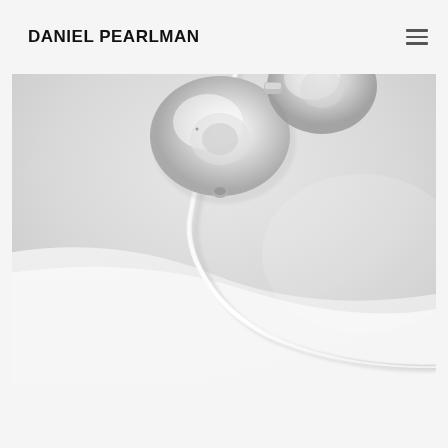DANIEL PEARLMAN
[Figure (photo): Close-up black and white photograph of white earbuds/earphones with cable on a white surface, minimalist product photography style]